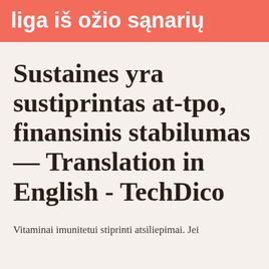liga iš ožio sąnarių
Sustaines yra sustiprintas at-tpo, finansinis stabilumas — Translation in English - TechDico
Vitaminai imunitetui stiprinti atsiliepimai. Jei